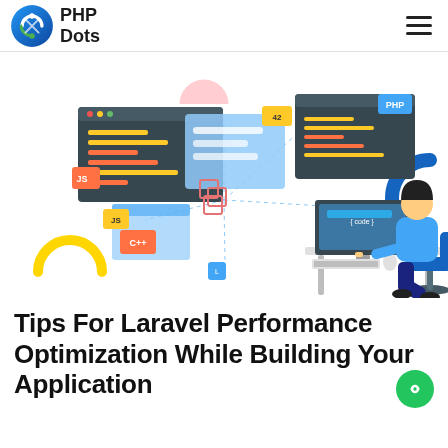PHP Dots
[Figure (illustration): Isometric illustration of a developer sitting at a desk with a computer, surrounded by floating code editor windows and technology icons including Laravel logo, JS, PHP, C++ badges, connected by dotted lines. Yellow semicircle and blue C shape in background.]
Tips For Laravel Performance Optimization While Building Your Application